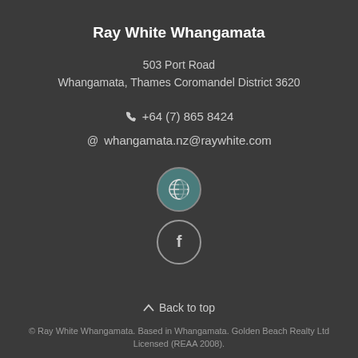Ray White Whangamata
503 Port Road
Whangamata, Thames Coromandel District 3620
+64 (7) 865 8424
whangamata.nz@raywhite.com
[Figure (logo): Globe/website icon in teal circle]
[Figure (logo): Facebook icon in outlined circle]
Back to top
© Ray White Whangamata. Based in Whangamata. Golden Beach Realty Ltd Licensed (REAA 2008).